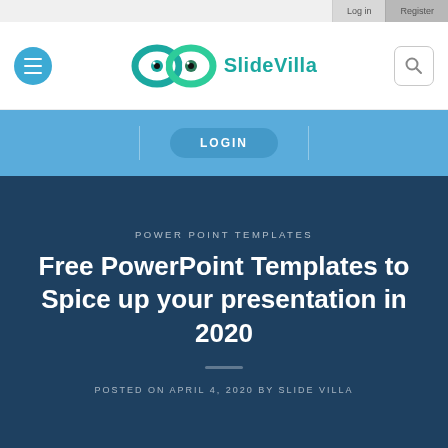Log in   Register
[Figure (logo): SlideVilla logo with infinity-eye symbol and teal text]
LOGIN
POWER POINT TEMPLATES
Free PowerPoint Templates to Spice up your presentation in 2020
POSTED ON APRIL 4, 2020 BY SLIDE VILLA